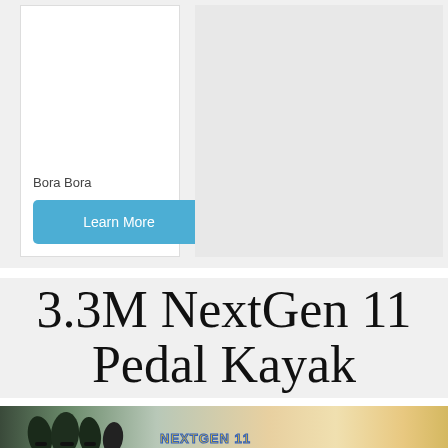Bora Bora
Learn More
3.3M NextGen 11 Pedal Kayak
[Figure (photo): Photo of NextGen 11 Pedal Kayak product with kayak shapes visible and NextGen logo text overlay]